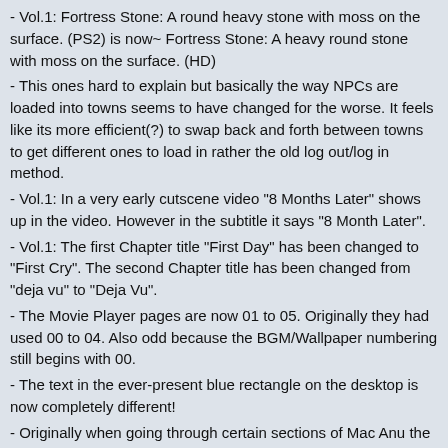- Vol.1: Fortress Stone: A round heavy stone with moss on the surface. (PS2) is now~ Fortress Stone: A heavy round stone with moss on the surface. (HD)
- This ones hard to explain but basically the way NPCs are loaded into towns seems to have changed for the worse. It feels like its more efficient(?) to swap back and forth between towns to get different ones to load in rather the old log out/log in method.
- Vol.1: In a very early cutscene video "8 Months Later" shows up in the video. However in the subtitle it says "8 Month Later".
- Vol.1: The first Chapter title "First Day" has been changed to "First Cry". The second Chapter title has been changed from "deja vu" to "Deja Vu".
- The Movie Player pages are now 01 to 05. Originally they had used 00 to 04. Also odd because the BGM/Wallpaper numbering still begins with 00.
- The text in the ever-present blue rectangle on the desktop is now completely different!
- Originally when going through certain sections of Mac Anu the game would freeze for a second for loading. This still occurs, however the screen goes black instead of continuing to show the game screen. Ditto for the loadpoint in Dol Dona.
- Vol.1/2: There's a translation error which says you can Alchemize equipment which are up to 20 levels apart (a feature introduced in the original Vol.3). However if you try to do this, you'll be told you can't because Alchemized equipment only works with a 10 level difference between them. (not present in Vol.2 HD)
- Vol.2: At the very start of the game, the NPC Tiphereth has part of her